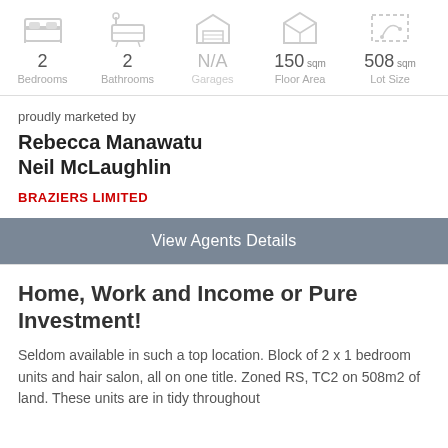[Figure (infographic): Property stats row showing icons and values: 2 Bedrooms, 2 Bathrooms, N/A Garages, 150 sqm Floor Area, 508 sqm Lot Size]
proudly marketed by
Rebecca Manawatu
Neil McLaughlin
BRAZIERS LIMITED
View Agents Details
Home, Work and Income or Pure Investment!
Seldom available in such a top location. Block of 2 x 1 bedroom units and hair salon, all on one title. Zoned RS, TC2 on 508m2 of land. These units are in tidy throughout